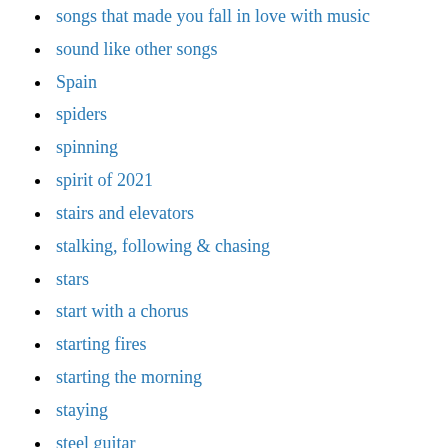songs that made you fall in love with music
sound like other songs
Spain
spiders
spinning
spirit of 2021
stairs and elevators
stalking, following & chasing
stars
start with a chorus
starting fires
starting the morning
staying
steel guitar
stereotypes